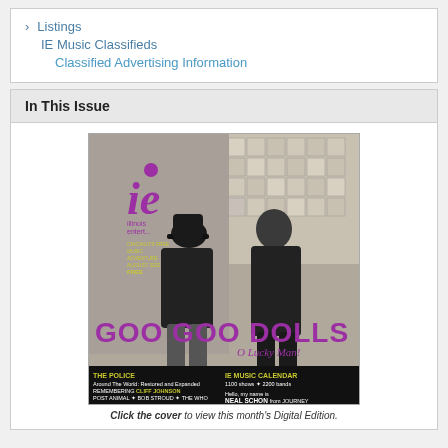> Listings
IE Music Classifieds
Classified Advertising Information
In This Issue
[Figure (photo): Magazine cover of Illinois Entertainer featuring the Goo Goo Dolls. Two men stand against a brick wall. Large purple text reads 'GOO GOO DOLLS' with subtitle 'O Lucky Man!'. Bottom strip shows: 'THE POLICE Around The World: Restored and Expanded', 'REMEMBERING CLIFF JOHNSON', 'POST ANIMAL + BOB STROUD + THE WHO', 'IE MUSIC CALENDAR 1100 shows + 2200 bands', 'Hello, my name is NEAL SCHON from JOURNEY'. Magazine logo is 'ie illinois entertainer'. Yellow text: 'CHICAGO'S FREE MUSIC ADVENTURE AUGUST 2022 FREE']
Click the cover to view this month's Digital Edition.